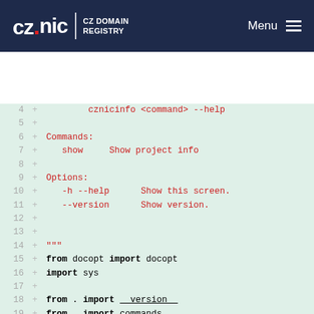CZ.NIC CZ DOMAIN REGISTRY | Menu
[Figure (screenshot): Code diff view showing lines 4-23 of a Python file with added lines (marked with +) in red monospace text on a light green background. Lines show CLI help text and Python import statements for a cznicinfo command tool.]